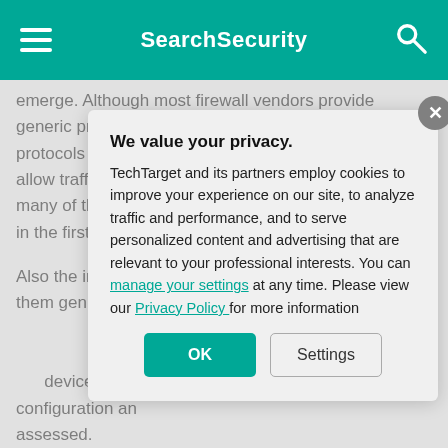SearchSecurity
emerge. Although most firewall vendors provide generic proxy agents to support undefined network protocols or applications, the agents tend to simply allow traffic to tunnel through the firewall, negating many of the reasons for having an application firewall in the first place.
Also the increas... makes them gen... compared to pac... little impact on n... application-indep... device, Web app... configuration an... assessed.
It's easy to unde...
We value your privacy. TechTarget and its partners employ cookies to improve your experience on our site, to analyze traffic and performance, and to serve personalized content and advertising that are relevant to your professional interests. You can manage your settings at any time. Please view our Privacy Policy for more information